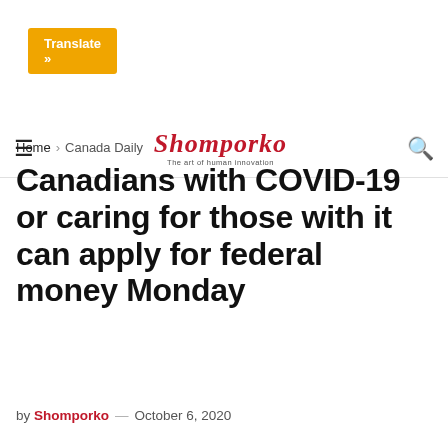[Figure (screenshot): Orange Translate button in top left corner]
Shomporko — The art of human innovation
Home > Canada Daily
Canadians with COVID-19 or caring for those with it can apply for federal money Monday
by Shomporko — October 6, 2020